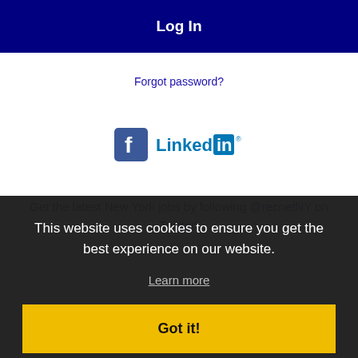Log In
Forgot password?
[Figure (logo): Facebook and LinkedIn social login icons]
Get the latest New York jobs by following @recnetNY on Twitter!
New York RSS job feeds
This website uses cookies to ensure you get the best experience on our website.
Learn more
Got it!
JOB SEEKERS